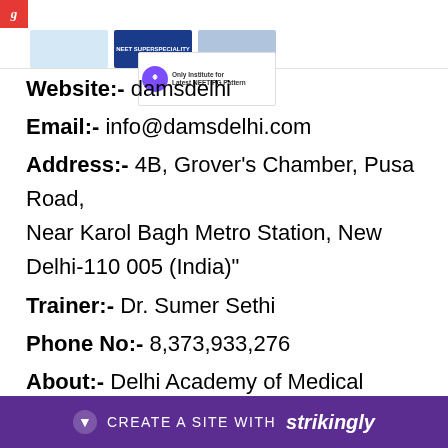Header with logos and NEET PG banner
Website:- damsdelhi
Email:- info@damsdelhi.com
Address:- 4B, Grover's Chamber, Pusa Road, Near Karol Bagh Metro Station, New Delhi-110 005 (India)"
Trainer:- Dr. Sumer Sethi
Phone No:- 8,373,933,276
About:- Delhi Academy of Medical Sciences (DAMS) a well-established name in the field of Medical Entrance Education. Today under the leadership of Dr. Sumer Sethi, Radi... AIIM...
CREATE A SITE WITH strikingly